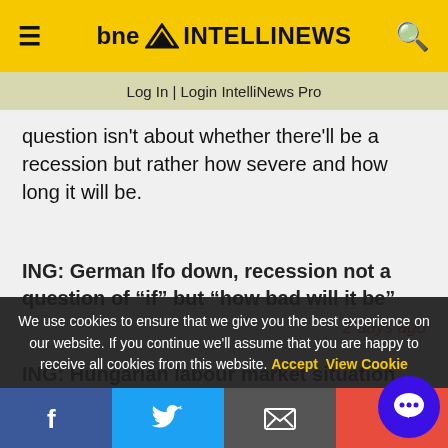bne INTELLINEWS
Log In | Login IntelliNews Pro
question isn't about whether there'll be a recession but rather how severe and how long it will be.
ING: German Ifo down, recession not a question of “if” but “how bad will it be”
2 days ago
ING: Hungarian labour market situation remains
We use cookies to ensure that we give you the best experience on our website. If you continue we’ll assume that you are happy to receive all cookies from this website. Accept  View Cookie